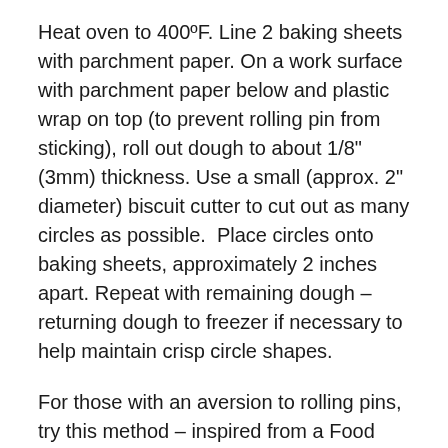Heat oven to 400ºF. Line 2 baking sheets with parchment paper. On a work surface with parchment paper below and plastic wrap on top (to prevent rolling pin from sticking), roll out dough to about 1/8" (3mm) thickness. Use a small (approx. 2" diameter) biscuit cutter to cut out as many circles as possible.  Place circles onto baking sheets, approximately 2 inches apart. Repeat with remaining dough – returning dough to freezer if necessary to help maintain crisp circle shapes.
For those with an aversion to rolling pins, try this method – inspired from a Food Network show I saw on tortilla-making. Form room-temperature dough into walnut-sized balls and arrange on baking sheet-sized parchment paper. (Cold dough will crack around the edges.) Cover balls with plastic wrap and flatten them with a meat tenderizer or other heavy, flat-bottomed object. The cookies won't be